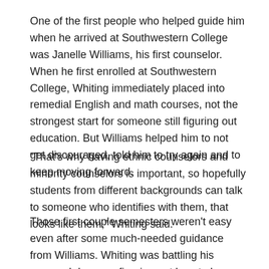One of the first people who helped guide him when he arrived at Southwestern College was Janelle Williams, his first counselor. When he first enrolled at Southwestern College, Whiting immediately placed into remedial English and math courses, not the strongest start for someone still figuring out education. But Williams helped him to not get discouraged, told him to try again and to keep moving forward.
“That's why having ethnic counselors and minority counselors is important, so hopefully students from different backgrounds can talk to someone who identifies with them, that looks like them,” Whiting said.
Those first couple semesters weren't easy even after some much-needed guidance from Williams. Whiting was battling his personal demons, figuring out how to be a student and